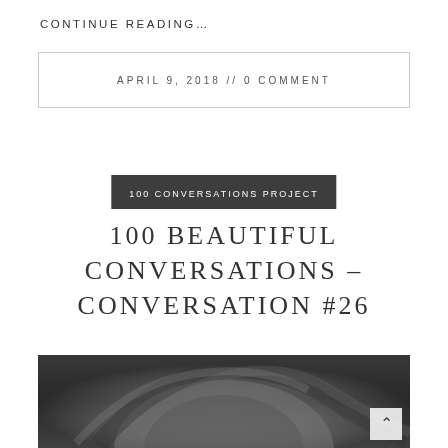CONTINUE READING…
APRIL 9, 2018 // 0 COMMENT
100 CONVERSATIONS PROJECT
100 BEAUTIFUL CONVERSATIONS – CONVERSATION #26
[Figure (photo): Black and white photograph of a woman from above the forehead up, showing her hair, partially cropped at the bottom of the page.]